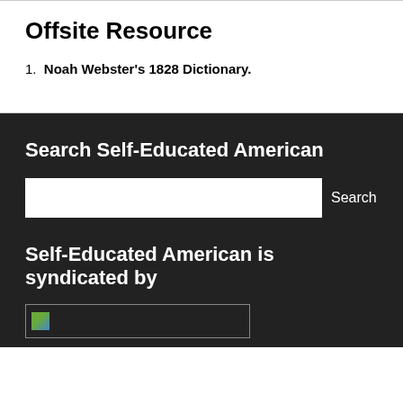Offsite Resource
1. Noah Webster's 1828 Dictionary.
Search Self-Educated American
[Figure (screenshot): Search input box with Search button]
Self-Educated American is syndicated by
[Figure (illustration): Broken image placeholder box]